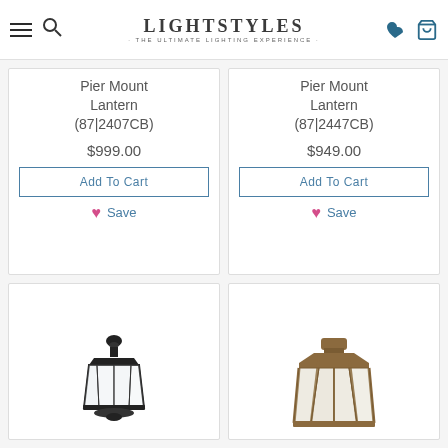LightStyles — The Ultimate Lighting Experience
Pier Mount Lantern (87|2407CB)
$999.00
Add To Cart
Save
Pier Mount Lantern (87|2447CB)
$949.00
Add To Cart
Save
[Figure (illustration): Bottom portion of a black pier mount lantern with clear glass panels]
[Figure (illustration): Bottom portion of a bronze/rust colored pier mount lantern with geometric frame]